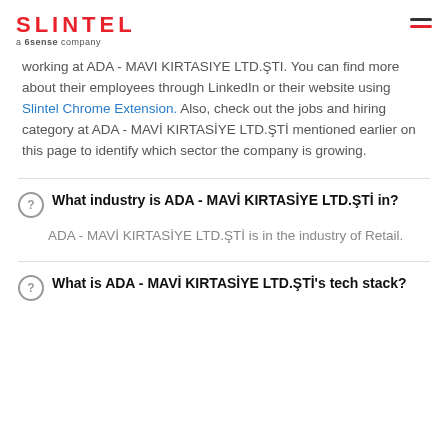SLINTEL a 6sense company
working at ADA - MAVI KIRTASIYE LTD.ŞTI. You can find more about their employees through LinkedIn or their website using Slintel Chrome Extension. Also, check out the jobs and hiring category at ADA - MAVİ KIRTASİYE LTD.ŞTİ mentioned earlier on this page to identify which sector the company is growing.
What industry is ADA - MAVİ KIRTASİYE LTD.ŞTİ in?
ADA - MAVİ KIRTASİYE LTD.ŞTİ is in the industry of Retail.
What is ADA - MAVİ KIRTASİYE LTD.ŞTİ's tech stack?